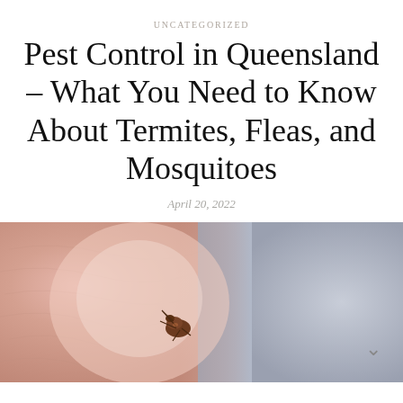UNCATEGORIZED
Pest Control in Queensland – What You Need to Know About Termites, Fleas, and Mosquitoes
April 20, 2022
[Figure (photo): Macro close-up photograph of a flea on human skin. The left portion shows pinkish skin texture, and the right portion shows a grey/blue background. A small brown flea is visible in the center-lower area of the image. A caret/chevron arrow (^) appears in the lower right corner of the image.]